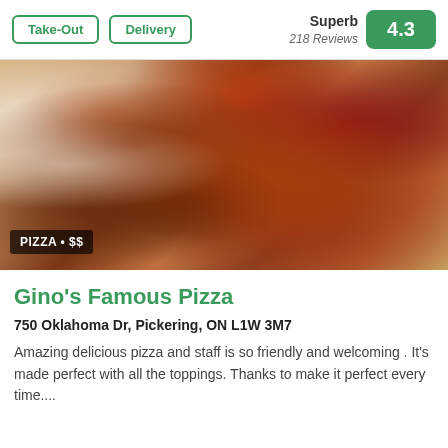Take-Out
Delivery
Superb 218 Reviews 4.3
[Figure (photo): Close-up photo of a pizza with pepperoni and various meat toppings with melted cheese, served on a white plate. Text overlay reads PIZZA • $$ in bottom left.]
Gino's Famous Pizza
750 Oklahoma Dr, Pickering, ON L1W 3M7
Amazing delicious pizza and staff is so friendly and welcoming . It's made perfect with all the toppings. Thanks to make it perfect every time....